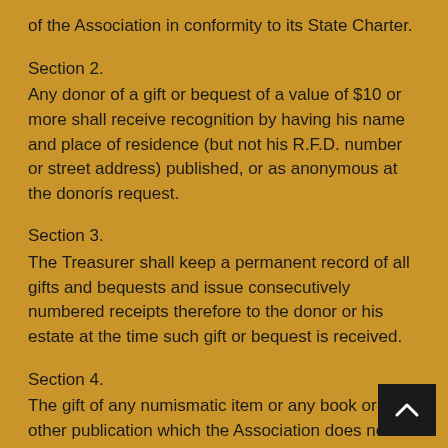of the Association in conformity to its State Charter.
Section 2.
Any donor of a gift or bequest of a value of $10 or more shall receive recognition by having his name and place of residence (but not his R.F.D. number or street address) published, or as anonymous at the donorís request.
Section 3.
The Treasurer shall keep a permanent record of all gifts and bequests and issue consecutively numbered receipts therefore to the donor or his estate at the time such gift or bequest is received.
Section 4.
The gift of any numismatic item or any book or other publication which the Association does not desire to k its museum or library may be sold and the proceeds th used for the purpose for which said gift was made.